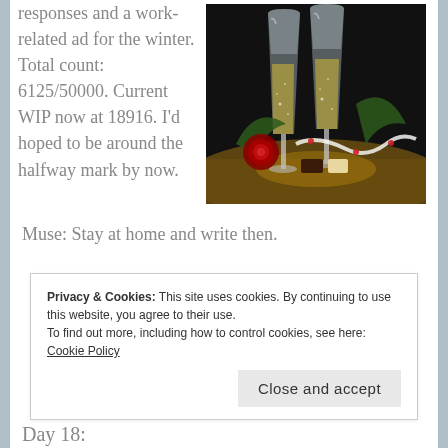responses and a work-related ad for the winter. Total count: 6125/50000. Current WIP now at 18916. I'd hoped to be around the halfway mark by now.
[Figure (photo): Two champagne flute glasses with bubbling champagne on a dark background, with a red rose, decorative ribbon with hearts, and chocolates on a golden surface.]
Muse: Stay at home and write then.
Privacy & Cookies: This site uses cookies. By continuing to use this website, you agree to their use.
To find out more, including how to control cookies, see here: Cookie Policy
Close and accept
Day 18: